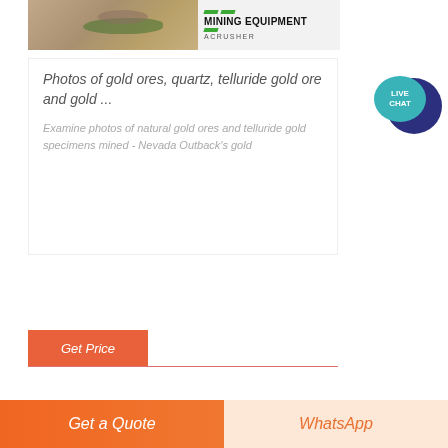[Figure (photo): Mining site photo on left and MINING EQUIPMENT ACRUSHER logo/text on right]
Photos of gold ores, quartz, telluride gold ore and gold ...
Examine photos of natural gold ores and telluride gold specimens mined - Nevada Outback's gold
[Figure (other): LIVE CHAT speech bubble icon in teal and dark blue]
Get Price
Get a Quote
WhatsApp